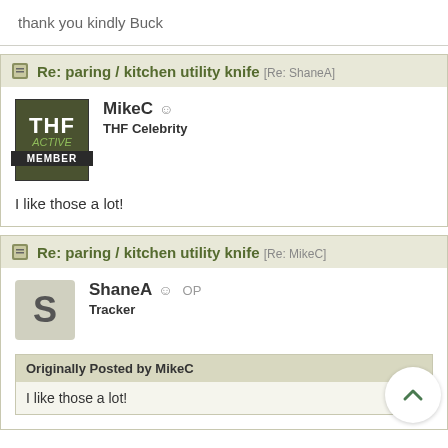thank you kindly Buck
Re: paring / kitchen utility knife [Re: ShaneA]
MikeC
THF Celebrity

I like those a lot!
Re: paring / kitchen utility knife [Re: MikeC]
ShaneA OP
Tracker
Originally Posted by MikeC
I like those a lot!